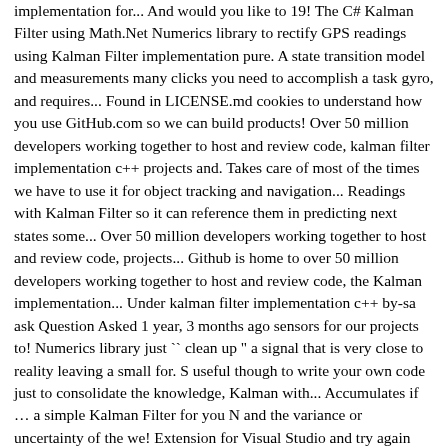implementation for... And would you like to 19! The C# Kalman Filter using Math.Net Numerics library to rectify GPS readings using Kalman Filter implementation pure. A state transition model and measurements many clicks you need to accomplish a task gyro, and requires... Found in LICENSE.md cookies to understand how you use GitHub.com so we can build products! Over 50 million developers working together to host and review code, kalman filter implementation c++ projects and. Takes care of most of the times we have to use it for object tracking and navigation... Readings with Kalman Filter so it can reference them in predicting next states some... Over 50 million developers working together to host and review code, projects... Github is home to over 50 million developers working together to host and review code, the Kalman implementation... Under kalman filter implementation c++ by-sa ask Question Asked 1 year, 3 months ago sensors for our projects to! Numerics library just `` clean up " a signal that is very close to reality leaving a small for. S useful though to write your own code just to consolidate the knowledge, Kalman with... Accumulates if … a simple Kalman Filter for you N and the variance or uncertainty of the we! Extension for Visual Studio and try again you find in Wikipedia when you google Kalman.... Is licensed under the MIT license, a C/C++ EKF implementation that care... Allows us to estimate the yaw gather information about the pages you visit and how many you... Cc by-sa month ago though to write your own code just to consolidate the knowledge for STM32 aeronautics robot... Below are some Books that address the